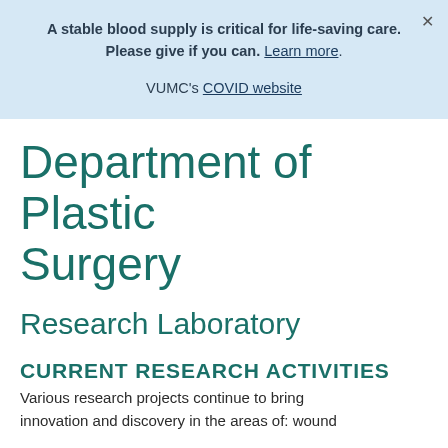A stable blood supply is critical for life-saving care. Please give if you can. Learn more.
VUMC's COVID website
Department of Plastic Surgery
Research Laboratory
CURRENT RESEARCH ACTIVITIES
Various research projects continue to bring innovation and discovery in the areas of: wound